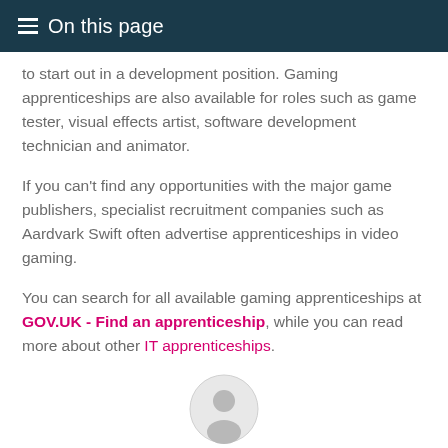On this page
to start out in a development position. Gaming apprenticeships are also available for roles such as game tester, visual effects artist, software development technician and animator.
If you can't find any opportunities with the major game publishers, specialist recruitment companies such as Aardvark Swift often advertise apprenticeships in video gaming.
You can search for all available gaming apprenticeships at GOV.UK - Find an apprenticeship, while you can read more about other IT apprenticeships.
[Figure (illustration): A circular avatar icon showing a generic user silhouette in light grey]